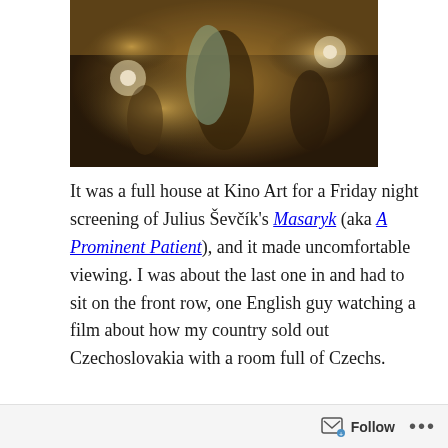[Figure (photo): A scene from the film Masaryk showing a couple dancing in a ballroom setting with other people in the background and warm lighting.]
It was a full house at Kino Art for a Friday night screening of Julius Ševčík's Masaryk (aka A Prominent Patient), and it made uncomfortable viewing. I was about the last one in and had to sit on the front row, one English guy watching a film about how my country sold out Czechoslovakia with a room full of Czechs.
Follow